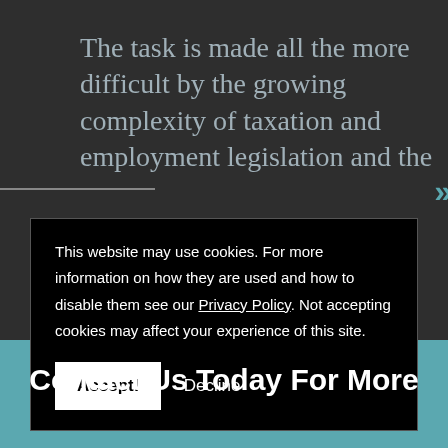The task is made all the more difficult by the growing complexity of taxation and employment legislation and the
This website may use cookies. For more information on how they are used and how to disable them see our Privacy Policy. Not accepting cookies may affect your experience of this site.
Accept! Decline
Contact Us Today For More